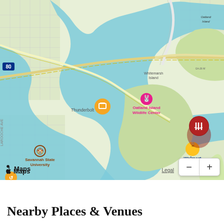[Figure (map): Apple Maps screenshot showing Whitemarsh Island, Thunderbolt, Oatland Island, and surrounding waterways near Savannah, Georgia. Map includes labels for Oatland Island Wildlife Center, Savannah State University, Walmart, Whitemarsh Island, Thunderbolt, Dutch Island, road markers GA-26 W and 80. A red location pin is placed near Oatland Island. Orange icons indicate nearby places of interest.]
Nearby Places & Venues